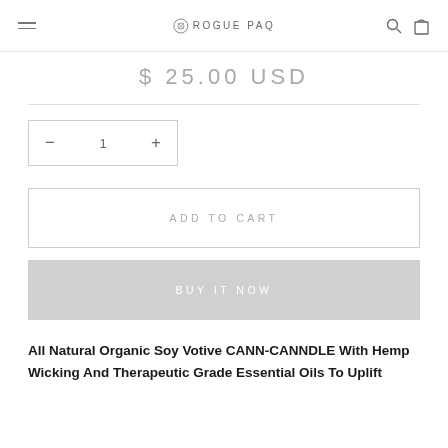ROGUE PAQ
$ 25.00 USD
— 1 +
ADD TO CART
BUY IT NOW
All Natural Organic Soy Votive CANN-CANNDLE With Hemp Wicking And Therapeutic Grade Essential Oils To Uplift